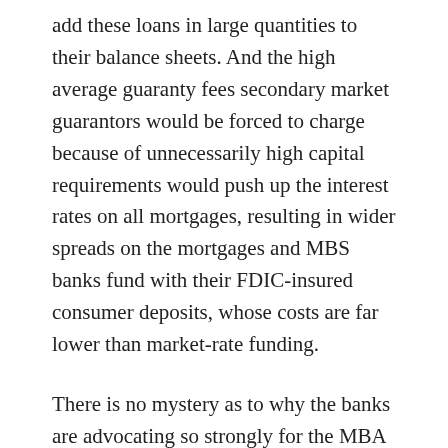add these loans in large quantities to their balance sheets. And the high average guaranty fees secondary market guarantors would be forced to charge because of unnecessarily high capital requirements would push up the interest rates on all mortgages, resulting in wider spreads on the mortgages and MBS banks fund with their FDIC-insured consumer deposits, whose costs are far lower than market-rate funding.
There is no mystery as to why the banks are advocating so strongly for the MBA or Milken legislative plans; they literally are crafted to give banks maximum profit benefit. But they do it by raising costs for homebuyers, reducing the availability of mortgage credit for low-and moderate income borrowers, and increasing the interest rate